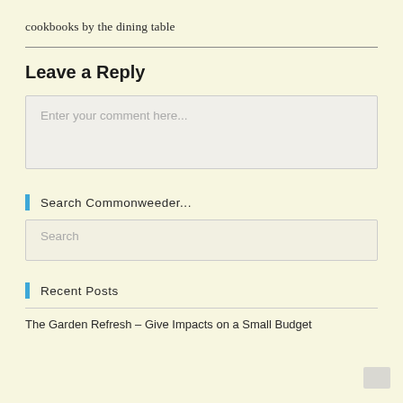cookbooks by the dining table
Leave a Reply
Enter your comment here...
Search Commonweeder...
Search
Recent Posts
The Garden Refresh – Give Impacts on a Small Budget